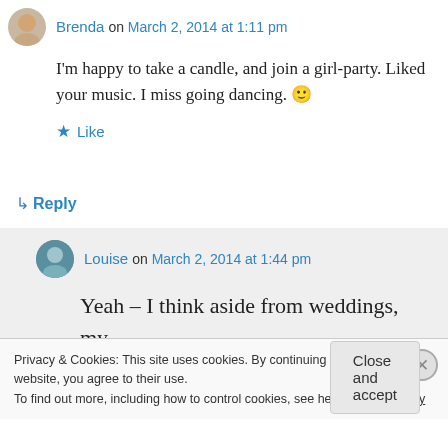Brenda on March 2, 2014 at 1:11 pm
I'm happy to take a candle, and join a girl-party. Liked your music. I miss going dancing. 🙂
Like
↳ Reply
Louise on March 2, 2014 at 1:44 pm
Yeah – I think aside from weddings, my
Privacy & Cookies: This site uses cookies. By continuing to use this website, you agree to their use.
To find out more, including how to control cookies, see here: Cookie Policy
Close and accept